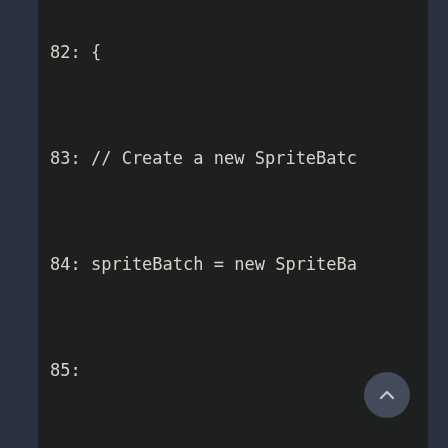82: {
83: // Create a new SpriteBatc
84: spriteBatch = new SpriteBa
85:
86: // TODO: use this.Content
87: